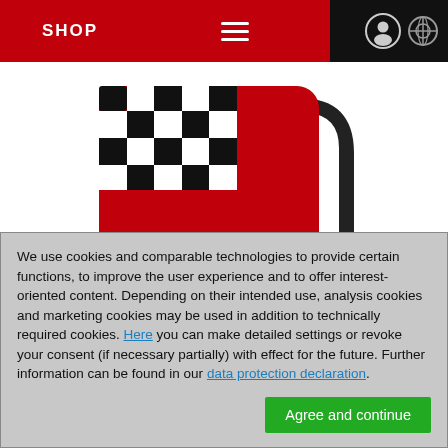SHOP
[Figure (logo): ChessBase logo: red rounded square with black and white checkerboard pattern in upper left, white text 'ChessBase' at bottom, black angular shape behind lower right]
We use cookies and comparable technologies to provide certain functions, to improve the user experience and to offer interest-oriented content. Depending on their intended use, analysis cookies and marketing cookies may be used in addition to technically required cookies. Here you can make detailed settings or revoke your consent (if necessary partially) with effect for the future. Further information can be found in our data protection declaration.